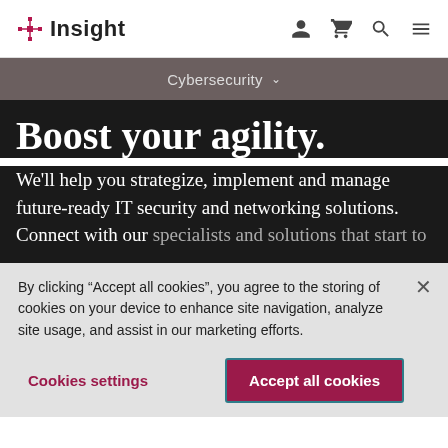[Figure (logo): Insight logo with crosshair icon and text 'Insight']
Cybersecurity
Boost your agility.
We'll help you strategize, implement and manage future-ready IT security and networking solutions. Connect with our
By clicking “Accept all cookies”, you agree to the storing of cookies on your device to enhance site navigation, analyze site usage, and assist in our marketing efforts.
Cookies settings
Accept all cookies